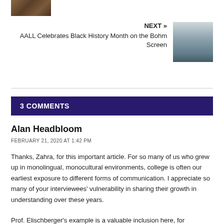[Figure (photo): Thumbnail image at top left, appears to show a dark interior scene]
NEXT »
AALL Celebrates Black History Month on the Bohm Screen
[Figure (photo): Thumbnail image of a street scene with buildings and signs]
3 COMMENTS
Alan Headbloom
FEBRUARY 21, 2020 AT 1:42 PM
Thanks, Zahra, for this important article. For so many of us who grew up in monolingual, monocultural environments, college is often our earliest exposure to different forms of communication. I appreciate so many of your interviewees' vulnerability in sharing their growth in understanding over these years.
Prof. Elischberger's example is a valuable inclusion here, for